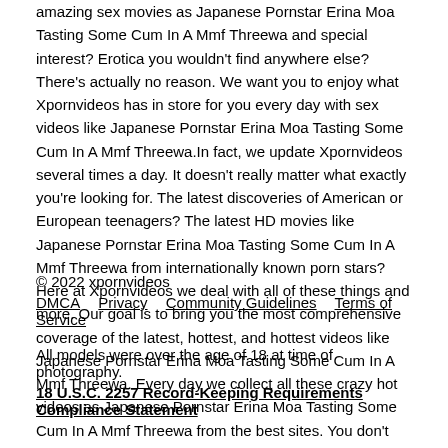amazing sex movies as Japanese Pornstar Erina Moa Tasting Some Cum In A Mmf Threewa and special interest? Erotica you wouldn't find anywhere else? There's actually no reason. We want you to enjoy what Xpornvideos has in store for you every day with sex videos like Japanese Pornstar Erina Moa Tasting Some Cum In A Mmf Threewa.In fact, we update Xpornvideos several times a day. It doesn't really matter what exactly you're looking for. The latest discoveries of American or European teenagers? The latest HD movies like Japanese Pornstar Erina Moa Tasting Some Cum In A Mmf Threewa from internationally known porn stars? Here at Xpornvideos we deal with all of these things and more. Our goal is to bring you the most comprehensive coverage of the latest, hottest, and hottest videos like Japanese Pornstar Erina Moa Tasting Some Cum In A Mmf Threewa. Every day we collect all these crazy hot videos as Japanese Pornstar Erina Moa Tasting Some Cum In A Mmf Threewa from the best sites. You don't have to spend hours searching for this and that and something else. Xpornvideos is the best in one place. Where you get exactly what you were promised. popular and famous or of particular interest and rare, we want all of these sex videos like Japanese Pornstar Erina Moa Tasting Some Cum In A Mmf Threewa to be there for you. Every day, all day.Bookmark us for more fun. We hope it will be soon! Start exploring Xpornvideos now, enjoy all our goodies and let us know if you have anything to share.
© 2022 xpornvideos
DMCA  Privacy  Community Guidelines  Terms of Service

All models were over the age of 18 at time of photography.
18 U.S.C. 2257 Record-Keeping Requirements Compliance Statement